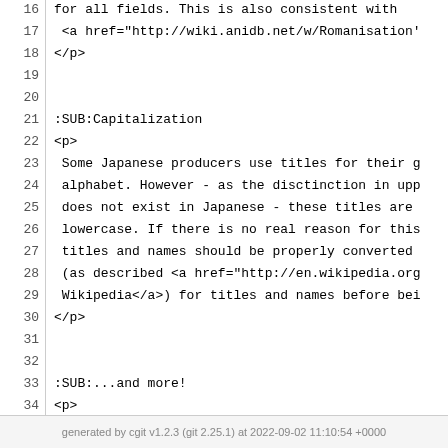16  for all fields. This is also consistent with
17   <a href="http://wiki.anidb.net/w/Romanisation'
18  </p>
19
20
21  :SUB:Capitalization
22  <p>
23   Some Japanese producers use titles for their g
24   alphabet. However - as the disctinction in upp
25   does not exist in Japanese - these titles are
26   lowercase. If there is no real reason for this
27   titles and names should be properly converted
28   (as described <a href="http://en.wikipedia.org
29   Wikipedia</a>) for titles and names before bei
30  </p>
31
32
33  :SUB:...and more!
34  <p>
35  Misc documentation:<br />
36  - Edit summary<br />
37  - Quoting sources in descriptions<br />
38  - Piracy<br />
39  - Spoilers<br />
40  </p>
41
generated by cgit v1.2.3 (git 2.25.1) at 2022-09-02 11:10:54 +0000